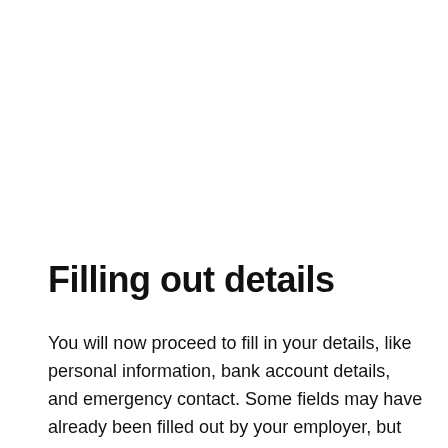Filling out details
You will now proceed to fill in your details, like personal information, bank account details, and emergency contact. Some fields may have already been filled out by your employer, but confirm that this information is correct and adjust it if it is incorrect. All required fields will be marked with an asterisk (*)